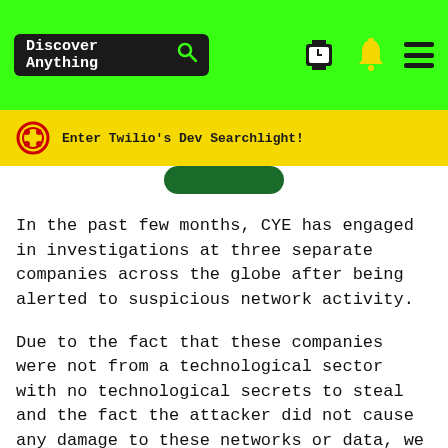Discover Anything
Enter Twilio's Dev Searchlight!
In the past few months, CYE has engaged in investigations at three separate companies across the globe after being alerted to suspicious network activity.
Due to the fact that these companies were not from a technological sector with no technological secrets to steal and the fact the attacker did not cause any damage to these networks or data, we assess that the attack was financially based.